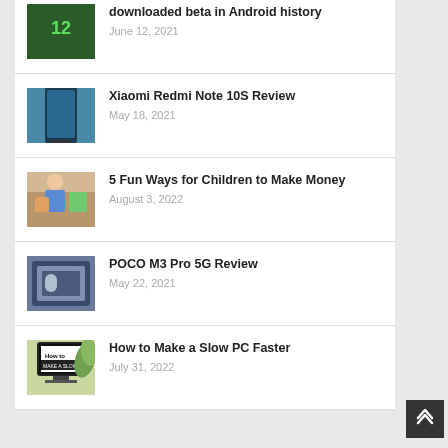downloaded beta in Android history — June 12, 2021
Xiaomi Redmi Note 10S Review — May 18, 2021
5 Fun Ways for Children to Make Money — August 3, 2022
POCO M3 Pro 5G Review — May 22, 2021
How to Make a Slow PC Faster — July 31, 2022